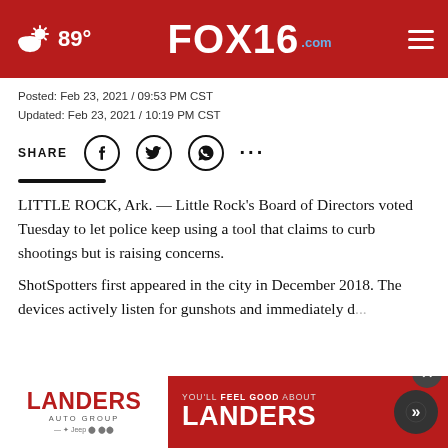FOX16.com — 89° weather header
Posted: Feb 23, 2021 / 09:53 PM CST
Updated: Feb 23, 2021 / 10:19 PM CST
SHARE (social icons)
LITTLE ROCK, Ark. — Little Rock's Board of Directors voted Tuesday to let police keep using a tool that claims to curb shootings but is raising concerns.
ShotSpotters first appeared in the city in December 2018. The devices actively listen for gunshots and immediately d...
[Figure (advertisement): Landers Auto Group advertisement banner at the bottom of the page. Red background with white Landers logo on left, 'You'll Feel Good About Landers' text with arrow button on right.]